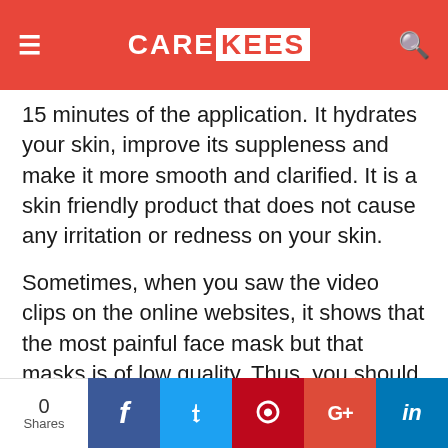CAREKEES
15 minutes of the application. It hydrates your skin, improve its suppleness and make it more smooth and clarified. It is a skin friendly product that does not cause any irritation or redness on your skin.
Sometimes, when you saw the video clips on the online websites, it shows that the most painful face mask but that masks is of low quality. Thus, you should always prefer to buy a high-quality best charcoal mask that has bamboo in it for the stress-free removal from
0 Shares  f  t  ®  G+  in